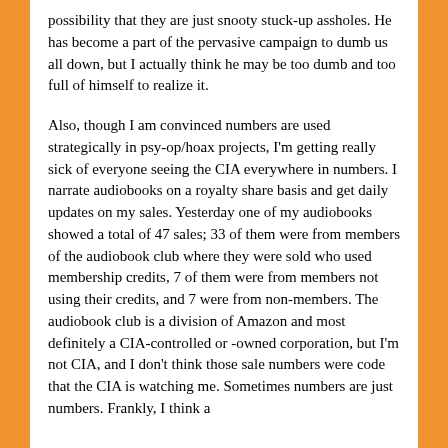possibility that they are just snooty stuck-up assholes. He has become a part of the pervasive campaign to dumb us all down, but I actually think he may be too dumb and too full of himself to realize it.
Also, though I am convinced numbers are used strategically in psy-op/hoax projects, I'm getting really sick of everyone seeing the CIA everywhere in numbers. I narrate audiobooks on a royalty share basis and get daily updates on my sales. Yesterday one of my audiobooks showed a total of 47 sales; 33 of them were from members of the audiobook club where they were sold who used membership credits, 7 of them were from members not using their credits, and 7 were from non-members. The audiobook club is a division of Amazon and most definitely a CIA-controlled or -owned corporation, but I'm not CIA, and I don't think those sale numbers were code that the CIA is watching me. Sometimes numbers are just numbers. Frankly, I think a